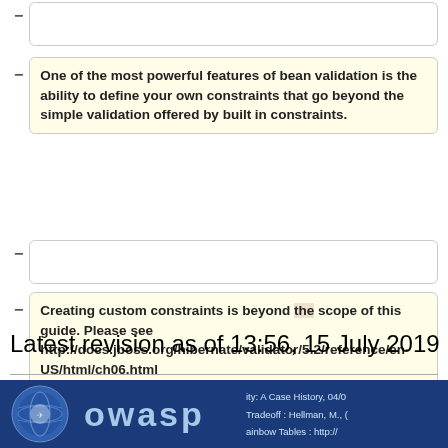One of the most powerful features of bean validation is the ability to define your own constraints that go beyond the simple validation offered by built in constraints.
Creating custom constraints is beyond the scope of this guide. Please see http://docs.jboss.org/hibernate/validator/5.2/reference/en-US/html/ch06.html
Latest revision as of 13:56, 15 July 2019
[Figure (logo): OWASP logo banner on blue background with text about security references on the right side]